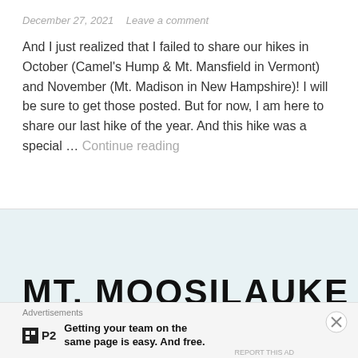December 27, 2021   Leave a comment
And I just realized that I failed to share our hikes in October (Camel's Hump & Mt. Mansfield in Vermont) and November (Mt. Madison in New Hampshire)! I will be sure to get those posted. But for now, I am here to share our last hike of the year. And this hike was a special … Continue reading
MT. MOOSILAUKE
Advertisements
[Figure (logo): P2 logo with tagline: Getting your team on the same page is easy. And free.]